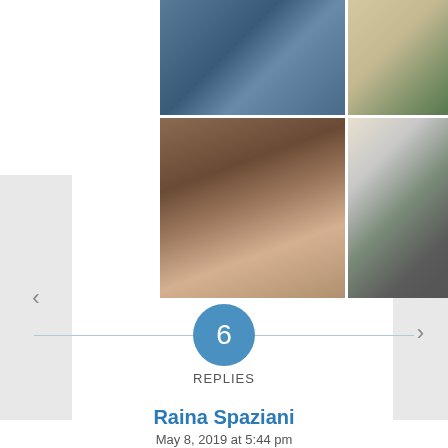[Figure (photo): Four photos arranged in a 2x2 grid showing dogs in various conditions — top-left shows a dark scene near a fence/railing, top-right shows a dog near a wire cage outdoors, bottom-left shows a dog being held or examined by a person, bottom-right shows a messy room with multiple small dogs.]
6
REPLIES
Raina Spaziani
May 8, 2019 at 5:44 pm